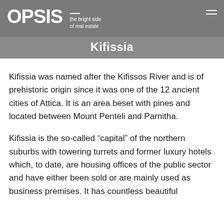OPSIS — the bright side of real estate
Kifissia
Kifissia was named after the Kifissos River and is of prehistoric origin since it was one of the 12 ancient cities of Attica. It is an area beset with pines and located between Mount Penteli and Parnitha.
Kifissia is the so-called “capital” of the northern suburbs with towering turrets and former luxury hotels which, to date, are housing offices of the public sector and have either been sold or are mainly used as business premises. It has countless beautiful